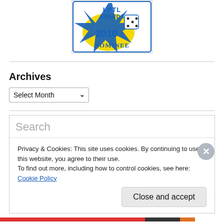[Figure (logo): Badge logo: 'LPTL Awards 2010 Nominee' with a star design, dice, moon, blue and yellow colors]
Archives
Select Month (dropdown)
Search (search input placeholder)
Privacy & Cookies: This site uses cookies. By continuing to use this website, you agree to their use.
To find out more, including how to control cookies, see here: Cookie Policy
Close and accept